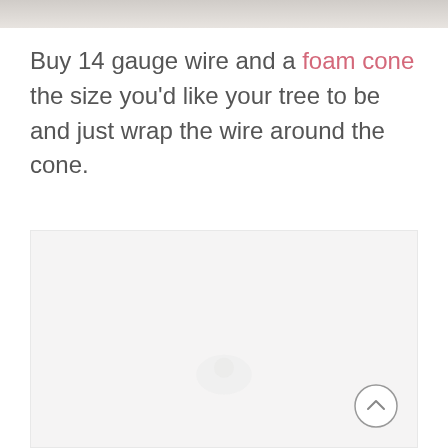[Figure (photo): Top partial image, appears to be a crafting or nature photo, partially cropped]
Buy 14 gauge wire and a foam cone the size you'd like your tree to be and just wrap the wire around the cone.
[Figure (photo): Large image below the text, light gray/white placeholder area with faint content]